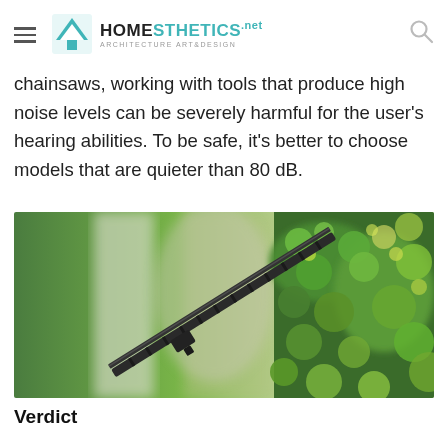Homesthetics — Architecture Art & Design
chainsaws, working with tools that produce high noise levels can be severely harmful for the user's hearing abilities. To be safe, it's better to choose models that are quieter than 80 dB.
[Figure (photo): Close-up photo of a hedge trimmer blade cutting through green leafy shrubs, with blurred green background]
Verdict